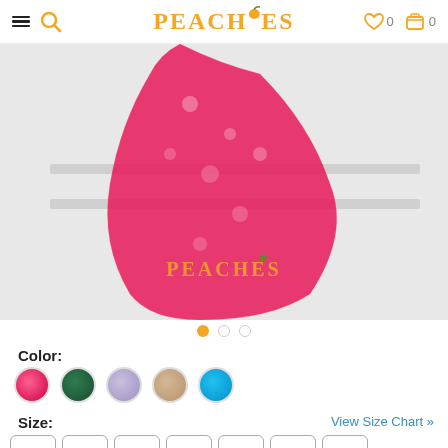PEACHES
[Figure (photo): Red floral lace/tulle dress skirt product photo with PEACHES watermark overlay]
Color:
[Figure (illustration): Five color swatches: hot pink, dark green, lavender, beige/tan, cyan/blue]
Size:
View Size Chart »
| Size options |
| --- |
| 0 | 2 | 4 | 6 | 8 | 10 | 12 |